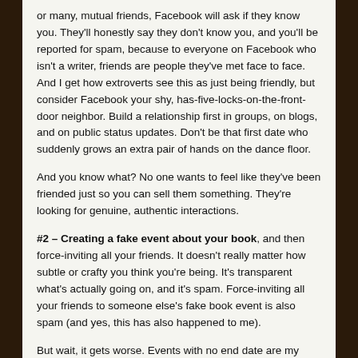or many, mutual friends, Facebook will ask if they know you. They'll honestly say they don't know you, and you'll be reported for spam, because to everyone on Facebook who isn't a writer, friends are people they've met face to face. And I get how extroverts see this as just being friendly, but consider Facebook your shy, has-five-locks-on-the-front-door neighbor. Build a relationship first in groups, on blogs, and on public status updates. Don't be that first date who suddenly grows an extra pair of hands on the dance floor.
And you know what? No one wants to feel like they've been friended just so you can sell them something. They're looking for genuine, authentic interactions.
#2 – Creating a fake event about your book, and then force-inviting all your friends. It doesn't really matter how subtle or crafty you think you're being. It's transparent what's actually going on, and it's spam. Force-inviting all your friends to someone else's fake book event is also spam (and yes, this has also happened to me).
But wait, it gets worse. Events with no end date are my personal pet peeve because the spam just keeps coming… forever. Keeping those who have declined visible isn't cool.